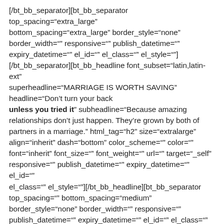[/bt_bb_separator][bt_bb_separator top_spacing="extra_large" bottom_spacing="extra_large" border_style="none" border_width="" responsive="" publish_datetime="" expiry_datetime="" el_id="" el_class="" el_style=""] [/bt_bb_separator][bt_bb_headline font_subset="latin,latin-ext" superheadline="MARRIAGE IS WORTH SAVING" headline="Don't turn your back unless you tried it" subheadline="Because amazing relationships don't just happen. They're grown by both of partners in a marriage." html_tag="h2" size="extralarge" align="inherit" dash="bottom" color_scheme="" color="" font="inherit" font_size="" font_weight="" url="" target="_self" responsive="" publish_datetime="" expiry_datetime="" el_id="" el_class="" el_style=""][/bt_bb_headline][bt_bb_separator top_spacing="" bottom_spacing="medium" border_style="none" border_width="" responsive="" publish_datetime="" expiry_datetime="" el_id="" el_class="" el_style=""][/bt_bb_separator][bt_bb_button text="FIND OUT MORE" icon="" icon_position="left" url="" target="_self"